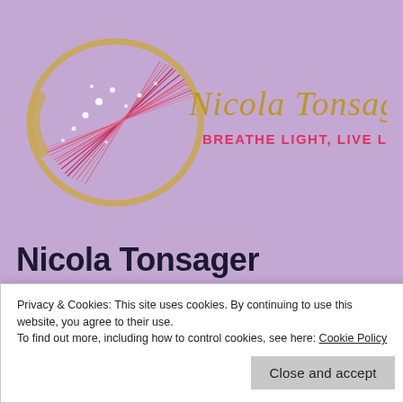[Figure (logo): Nicola Tonsager logo: circular fiber-optic art with red, pink, white strands and a gold ring, alongside cursive 'Nicola Tonsager' text in gold and 'BREATHE LIGHT, LIVE LOVE' in pink]
Nicola Tonsager
Medium | Teacher | Mentor | Author
Privacy & Cookies: This site uses cookies. By continuing to use this website, you agree to their use.
To find out more, including how to control cookies, see here: Cookie Policy
Close and accept